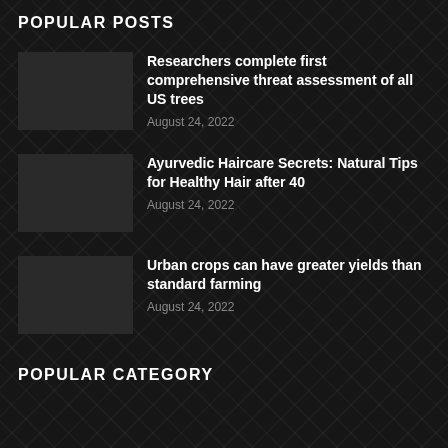POPULAR POSTS
Researchers complete first comprehensive threat assessment of all US trees
August 24, 2022
Ayurvedic Haircare Secrets: Natural Tips for Healthy Hair after 40
August 24, 2022
Urban crops can have greater yields than standard farming
August 24, 2022
POPULAR CATEGORY